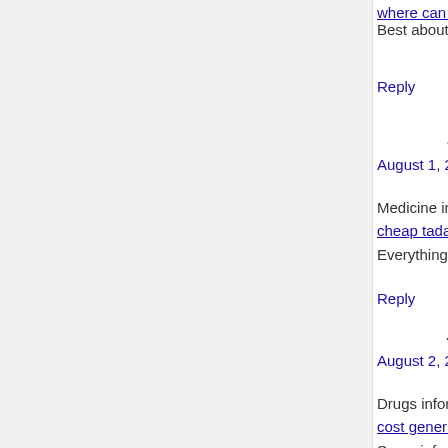where can i get tadacip without a prescription Best about pills. Get now.
Reply
BglSH says: August 1, 2021 at 2:52 pm
Medicine information for patients. Drug C cheap tadacip no prescription in US Everything what you want to know about
Reply
ZsmVZ says: August 2, 2021 at 3:41 am
Drugs information leaflet. Effects of Drug cost generic eriacta without insurance in Some information about medicines. Get i
Reply
GncJO says: August 12, 2021 at 6:53 pm
Create anonymous bitcoin wallet without